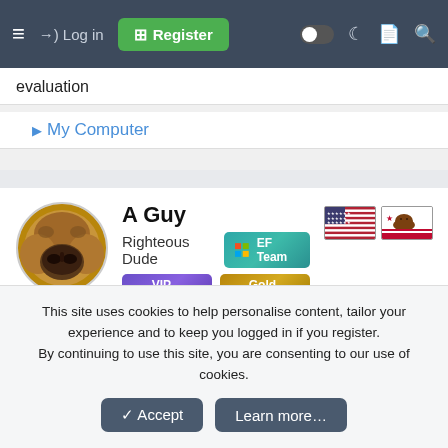Log in  Register
evaluation
▶ My Computer
A Guy
Righteous Dude  EF Team  VIP Member  Gold Member
Dec 17, 2021  #3,912
Appraisal
This site uses cookies to help personalise content, tailor your experience and to keep you logged in if you register.
By continuing to use this site, you are consenting to our use of cookies.